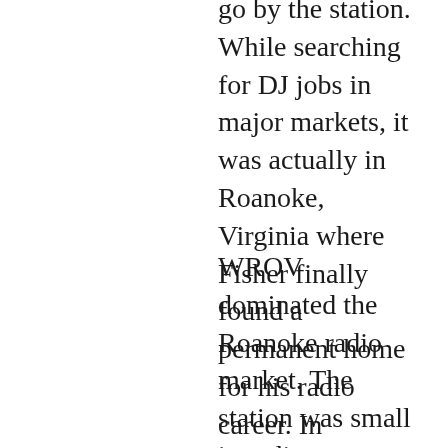go by the station. While searching for DJ jobs in major markets, it was actually in Roanoke, Virginia where Fisher finally found a permanent home for his radio career. In November 1964, Fisher was hired at work at WROV 1240 AM.
WROV dominated the Roanoke radio market. The station was small in radio power: transmitting only 1,000 watts in the daytime and 250 watts at night.  Even though WROV’s coverage area was only 25 miles wide, the station totally controlled radio listenership within the Roanoke Valley.